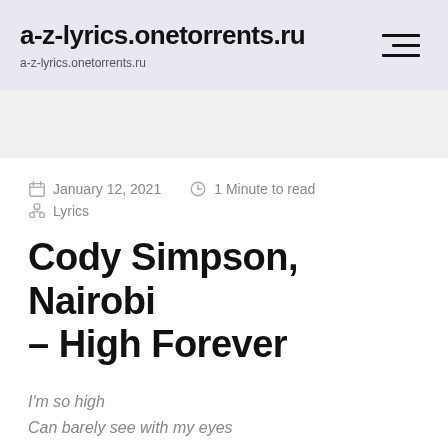a-z-lyrics.onetorrents.ru
a-z-lyrics.onetorrents.ru
January 12, 2021  1 Minute to read  Lyrics
Cody Simpson, Nairobi – High Forever
I'm so high
Can barely see with my eyes